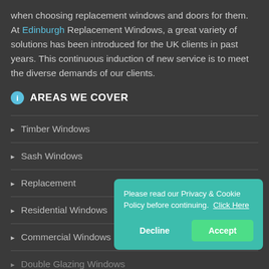when choosing replacement windows and doors for them. At Edinburgh Replacement Windows, a great variety of solutions has been introduced for the UK clients in past years. This continuous induction of new service is to meet the diverse demands of our clients.
AREAS WE COVER
Timber Windows
Sash Windows
Replacement
Residential Windows
Commercial Windows
Double Glazing Windows
Please read our Privacy & Cookie Policy before continuing. Click Here
Decline | Accept